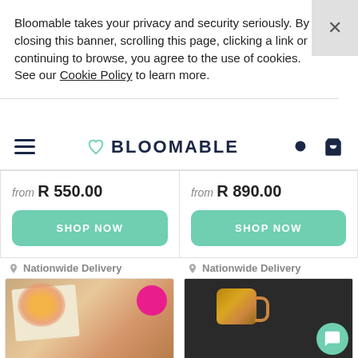Bloomable takes your privacy and security seriously. By closing this banner, scrolling this page, clicking a link or continuing to browse, you agree to the use of cookies. See our Cookie Policy to learn more.
BLOOMABLE
from R 550.00
SHOP NOW
from R 890.00
SHOP NOW
Nationwide Delivery
[Figure (photo): Gift box with flowers and products]
Nationwide Delivery
[Figure (photo): Gift box with copper mug and products on dark background]